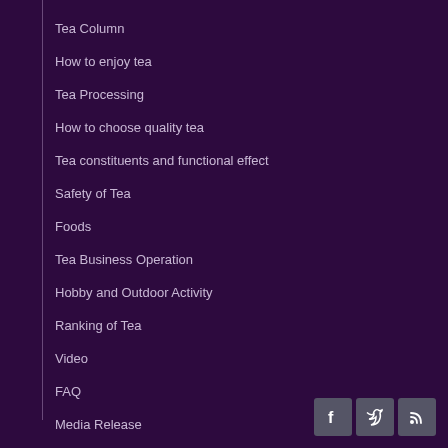Tea Column
How to enjoy tea
Tea Processing
How to choose quality tea
Tea constituents and functional effect
Safety of Tea
Foods
Tea Business Operation
Hobby and Outdoor Activity
Ranking of Tea
Video
FAQ
Media Release
[Figure (other): Social media icons: Facebook, Twitter, RSS]